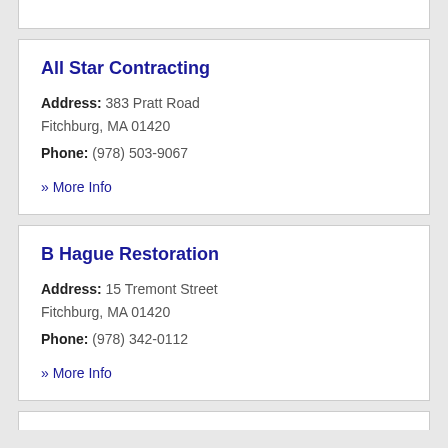All Star Contracting
Address: 383 Pratt Road Fitchburg, MA 01420
Phone: (978) 503-9067
» More Info
B Hague Restoration
Address: 15 Tremont Street Fitchburg, MA 01420
Phone: (978) 342-0112
» More Info